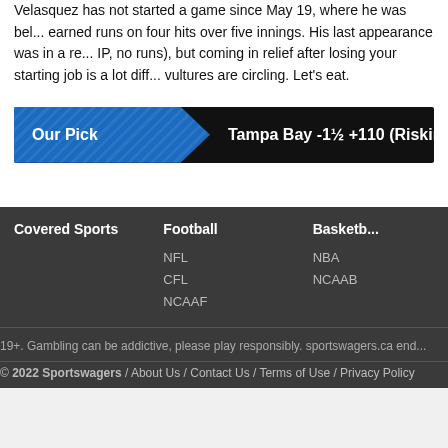Velasquez has not started a game since May 19, where he was bel... earned runs on four hits over five innings. His last appearance was in a re... IP, no runs), but coming in relief after losing your starting job is a lot diff... vultures are circling. Let's eat.
Our Pick — Tampa Bay -1½ +110 (Risking 2 units - To W...
Covered Sports
Football
Basketball
NFL
CFL
NCAAF
NBA
NCAAB
19+. Gambling can be addictive, please play responsibly. sportswagers.ca end...
© 2022 Sportswagers / About Us / Contact Us / Terms of Use / Privacy Policy